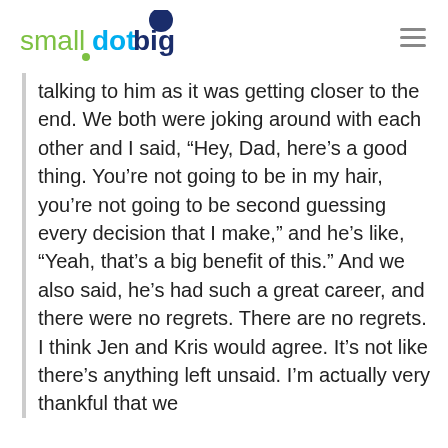smalldotbig
talking to him as it was getting closer to the end. We both were joking around with each other and I said, “Hey, Dad, here’s a good thing. You’re not going to be in my hair, you’re not going to be second guessing every decision that I make,” and he’s like, “Yeah, that’s a big benefit of this.” And we also said, he’s had such a great career, and there were no regrets. There are no regrets. I think Jen and Kris would agree. It’s not like there’s anything left unsaid. I’m actually very thankful that we